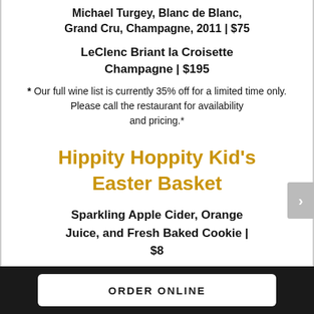Michael Turgey, Blanc de Blanc, Grand Cru, Champagne, 2011 | $75
LeClenc Briant la Croisette Champagne | $195
* Our full wine list is currently 35% off for a limited time only. Please call the restaurant for availability and pricing.*
Hippity Hoppity Kid's Easter Basket
Sparkling Apple Cider, Orange Juice, and Fresh Baked Cookie | $8
ORDER ONLINE